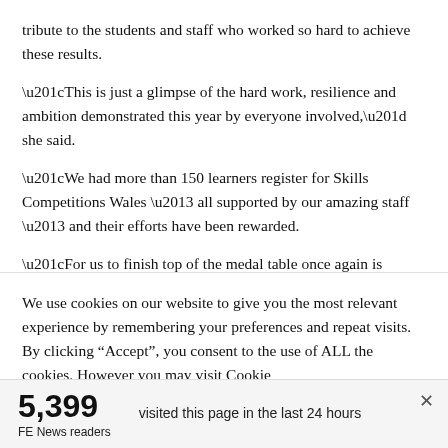tribute to the students and staff who worked so hard to achieve these results.
“This is just a glimpse of the hard work, resilience and ambition demonstrated this year by everyone involved,” she said.
“We had more than 150 learners register for Skills Competitions Wales – all supported by our amazing staff – and their efforts have been rewarded.
“For us to finish top of the medal table once again is testament to the…
We use cookies on our website to give you the most relevant experience by remembering your preferences and repeat visits. By clicking “Accept”, you consent to the use of ALL the cookies. However you may visit Cookie
5,399 FE News readers   visited this page in the last 24 hours